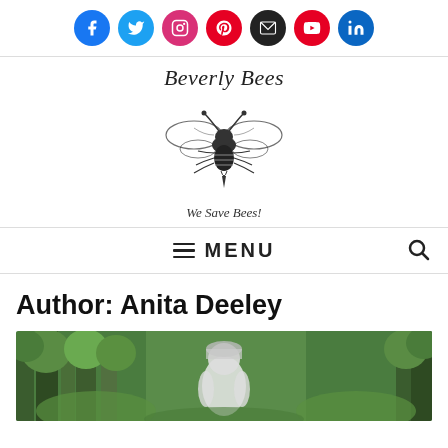[Figure (other): Social media icon bar with Facebook, Twitter, Instagram, Pinterest, Email, YouTube, and LinkedIn circular icons]
[Figure (logo): Beverly Bees logo with illustrated bee and tagline 'We Save Bees!']
MENU
Author: Anita Deeley
[Figure (photo): Outdoor photo of person in beekeeping suit in a green forested area]